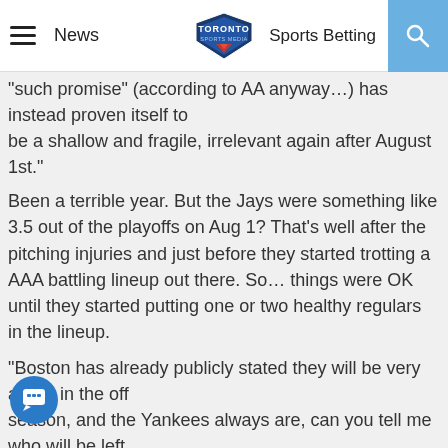News | Toronto Sports Media | Sports Betting
"such promise" (according to AA anyway…) has instead proven itself to be a shallow and fragile, irrelevant again after August 1st."
Been a terrible year. But the Jays were something like 3.5 out of the playoffs on Aug 1? That's well after the pitching injuries and just before they started trotting a AAA battling lineup out there. So… things were OK until they started putting one or two healthy regulars in the lineup.
"Boston has already publicly stated they will be very active in the off season, and the Yankees always are, can you tell me who will be left over for AA to bid on?"
11
It's been written a bunch that neither team wants to go over the $189 mil luxury tax threshold. The Yankees apparently will be right up against it after they resign Cano and Granderson. And I've read